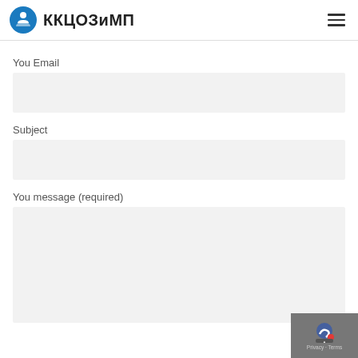ККЦОЗиМП
You Email
Subject
You message (required)